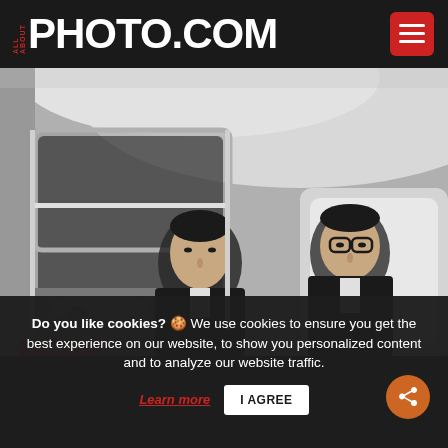ALL ABOUT PHOTO.COM
[Figure (photo): Black and white photograph of two men in suits leaning and looking into the interior of a classic car, peering through the open door window]
CARMEL, CA
Do you like cookies? 🍪 We use cookies to ensure you get the best experience on our website, to show you personalized content and to analyze our website traffic.
Learn more   I AGREE